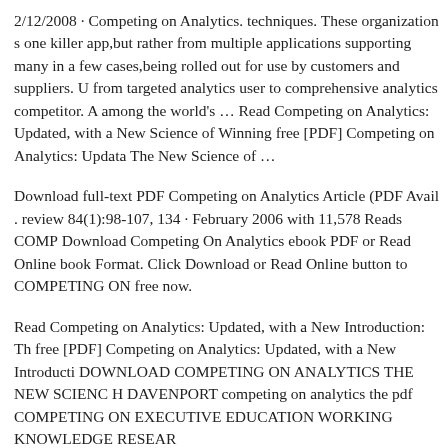2/12/2008 · Competing on Analytics. techniques. These organizations one killer app,but rather from multiple applications supporting many in a few cases,being rolled out for use by customers and suppliers. U from targeted analytics user to comprehensive analytics competitor. A among the world's … Read Competing on Analytics: Updated, with a New Science of Winning free [PDF] Competing on Analytics: Upda The New Science of …
Download full-text PDF Competing on Analytics Article (PDF Avail. review 84(1):98-107, 134 · February 2006 with 11,578 Reads COMP Download Competing On Analytics ebook PDF or Read Online book Format. Click Download or Read Online button to COMPETING ON free now.
Read Competing on Analytics: Updated, with a New Introduction: Th free [PDF] Competing on Analytics: Updated, with a New Introducti DOWNLOAD COMPETING ON ANALYTICS THE NEW SCIENC H DAVENPORT competing on analytics the pdf COMPETING ON EXECUTIVE EDUCATION WORKING KNOWLEDGE RESEAR